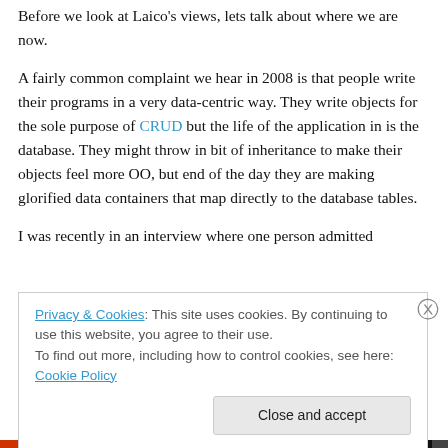Before we look at Laico's views, lets talk about where we are now.
A fairly common complaint we hear in 2008 is that people write their programs in a very data-centric way. They write objects for the sole purpose of CRUD but the life of the application in is the database. They might throw in bit of inheritance to make their objects feel more OO, but end of the day they are making glorified data containers that map directly to the database tables.
I was recently in an interview where one person admitted
Privacy & Cookies: This site uses cookies. By continuing to use this website, you agree to their use.
To find out more, including how to control cookies, see here: Cookie Policy